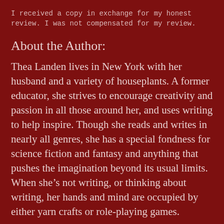I received a copy in exchange for my honest review. I was not compensated for my review.
About the Author:
Thea Landen lives in New York with her husband and a variety of houseplants. A former educator, she strives to encourage creativity and passion in all those around her, and uses writing to help inspire. Though she reads and writes in nearly all genres, she has a special fondness for science fiction and fantasy and anything that pushes the imagination beyond its usual limits. When she’s not writing, or thinking about writing, her hands and mind are occupied by either yarn crafts or role-playing games.
Connect with Thea Landen